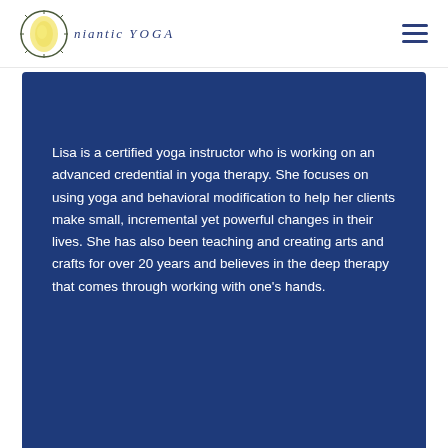niantic yoga
Lisa is a certified yoga instructor who is working on an advanced credential in yoga therapy. She focuses on using yoga and behavioral modification to help her clients make small, incremental yet powerful changes in their lives. She has also been teaching and creating arts and crafts for over 20 years and believes in the deep therapy that comes through working with one's hands.